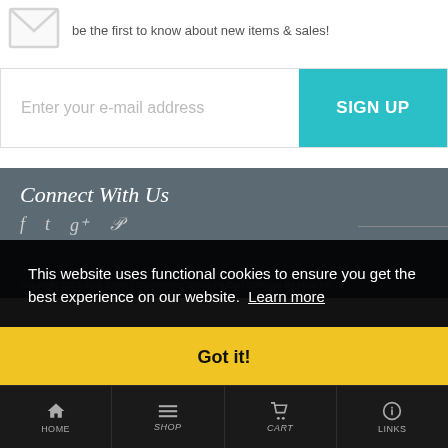be the first to know about new items & sales!
Enter your e-mail address
SIGN UP
Connect With Us
This website uses functional cookies to ensure you get the best experience on our website. Learn more
Got it!
HOME  SHOP  CART  LINKS